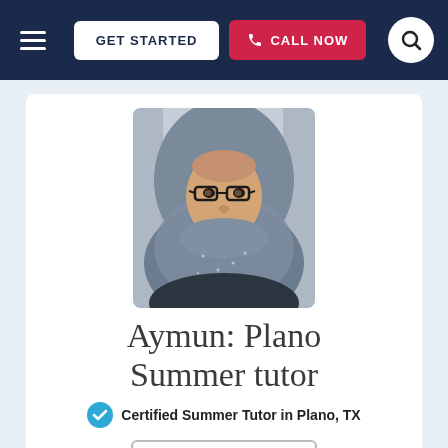GET STARTED | CALL NOW
[Figure (photo): Profile photo of Aymun, a woman wearing a grey hijab and glasses, smiling at the camera.]
Aymun: Plano Summer tutor
Certified Summer Tutor in Plano, TX